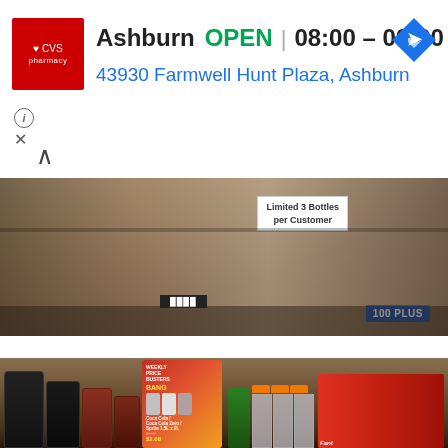[Figure (screenshot): CVS Pharmacy store listing UI showing store name 'Ashburn', status 'OPEN', hours '08:00 - 00:00', address '43930 Farmwell Hunt Plaza, Ashburn', CVS logo, navigation arrow icon, info and close icons, and an up chevron button.]
[Figure (photo): Top photo showing store shelves with large water bottles and a sign reading 'Limited 3 Bottles per Customer' and '100 PLUS' product boxes.]
[Figure (photo): Bottom photo showing a supermarket aisle with a 'Weekly Price Busters' promotional display for Coca-Cola / Coca-Cola Zero / Sprite 1.5L priced at $3.90 reduced to $2.69, alongside shelves of beverages including Nescafe, Fanta, and various soft drink bottles with orange and red caps.]